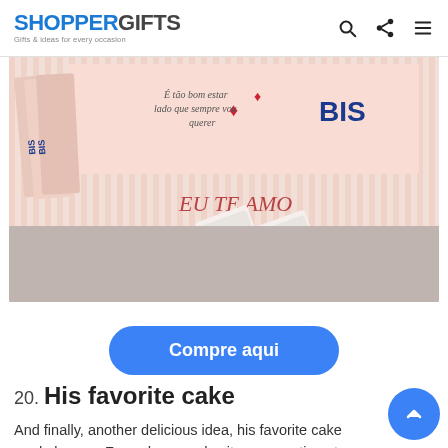SHOPPERGIFTS — Gifts & ideas for every occasion
[Figure (photo): Photo of BIS chocolate bars with custom romantic labels, arranged in a pink striped gift box with 'EU TE AMO' text and Michy Arte Design branding]
Compre aqui
20. His favorite cake
And finally, another delicious idea, his favorite cake made by you. For a decor and write a romantic note